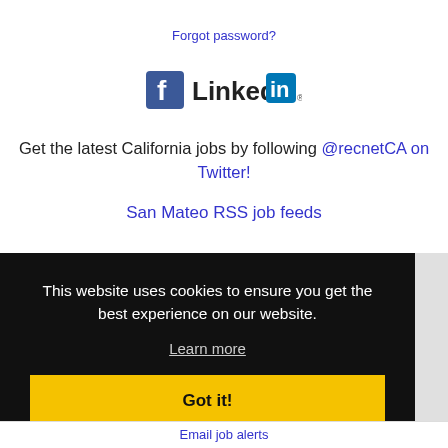Forgot password?
[Figure (logo): Facebook logo icon and LinkedIn logo side by side]
Get the latest California jobs by following @recnetCA on Twitter!
San Mateo RSS job feeds
This website uses cookies to ensure you get the best experience on our website.
Learn more
Got it!
Email job alerts